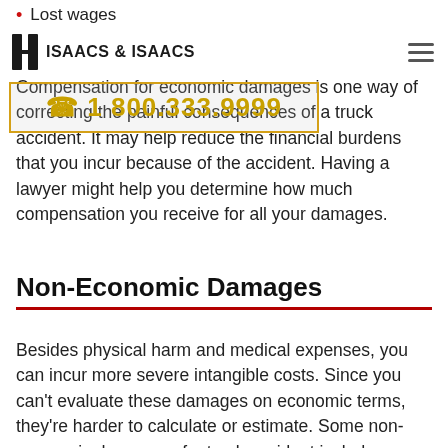Lost wages
ISAACS & ISAACS
Compensation for economic damages is one way of correcting the painful consequences of a truck accident. It may help reduce the financial burdens that you incur because of the accident. Having a lawyer might help you determine how much compensation you receive for all your damages.
[Figure (other): Phone number CTA overlay with gold border: ☎ 1 800.333.9999]
Non-Economic Damages
Besides physical harm and medical expenses, you can incur more severe intangible costs. Since you can't evaluate these damages on economic terms, they're harder to calculate or estimate. Some non-economic damages of a truck accident include: